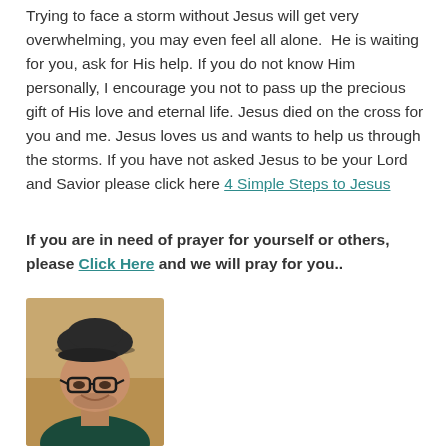Trying to face a storm without Jesus will get very overwhelming, you may even feel all alone.  He is waiting for you, ask for His help. If you do not know Him personally, I encourage you not to pass up the precious gift of His love and eternal life. Jesus died on the cross for you and me. Jesus loves us and wants to help us through the storms. If you have not asked Jesus to be your Lord and Savior please click here 4 Simple Steps to Jesus
If you are in need of prayer for yourself or others, please Click Here and we will pray for you..
[Figure (photo): Portrait photo of a middle-aged man wearing a dark flat cap and glasses, smiling, wearing a dark teal shirt against a warm beige background]